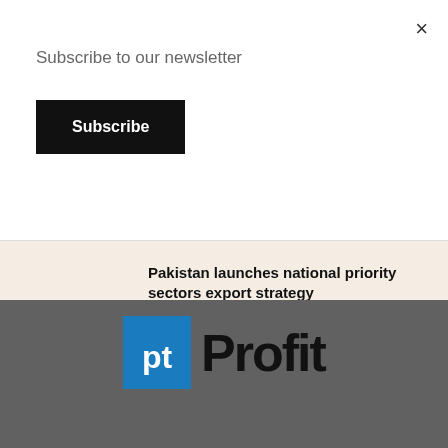Subscribe to our newsletter
Subscribe
×
Pakistan launches national priority sectors export strategy
August 19, 2022
[Figure (logo): pt Profit logo — blue square with 'pt' in white letters followed by 'Profit' in black bold text on dark grey background]
Publishing Editor: Babar Nizami - Editor: Khurram